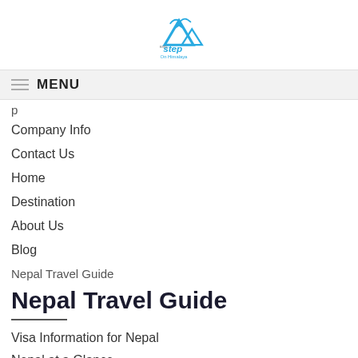[Figure (logo): Step on Himalaya logo with blue mountain and bird icon above text]
≡ MENU
Company Info
Contact Us
Home
Destination
About Us
Blog
Nepal Travel Guide
Nepal Travel Guide
Visa Information for Nepal
Nepal at a Glance
Best Seasons for Trekking in Nepal
Nepal Travel Insurance